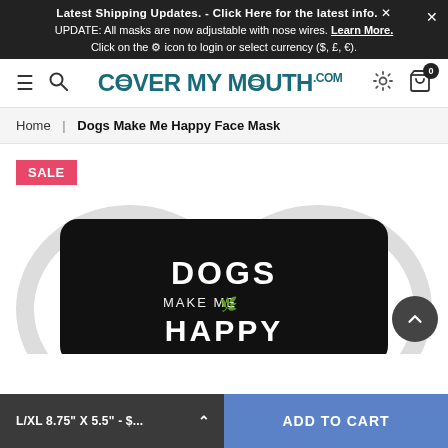Latest Shipping Updates. - Click Here for the latest info. ×
UPDATE: All masks are now adjustable with nose wires. Learn More.
Click on the ⚙ icon to login or select currency ($, £, €).
[Figure (logo): CoverMyMouth.com logo in teal/dark cyan color with navigation icons: hamburger menu, search, gear, and cart with 0 badge]
Home | Dogs Make Me Happy Face Mask
[Figure (photo): Black face mask with white text reading 'DOGS MAKE ME HAPPY' with a leaf/plant graphic. SALE badge visible in top left corner.]
L/XL 8.75" X 5.5" - $... ADD TO CART